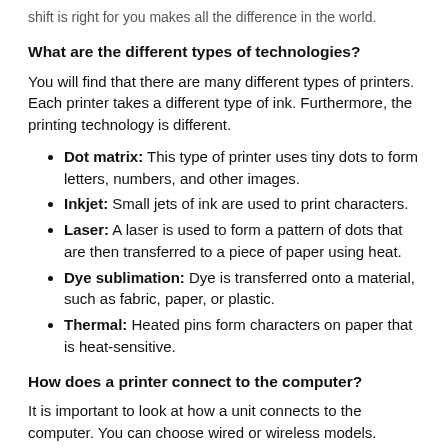shift is right for you makes all the difference in the world.
What are the different types of technologies?
You will find that there are many different types of printers. Each printer takes a different type of ink. Furthermore, the printing technology is different.
Dot matrix: This type of printer uses tiny dots to form letters, numbers, and other images.
Inkjet: Small jets of ink are used to print characters.
Laser: A laser is used to form a pattern of dots that are then transferred to a piece of paper using heat.
Dye sublimation: Dye is transferred onto a material, such as fabric, paper, or plastic.
Thermal: Heated pins form characters on paper that is heat-sensitive.
How does a printer connect to the computer?
It is important to look at how a unit connects to the computer. You can choose wired or wireless models.
Parallel